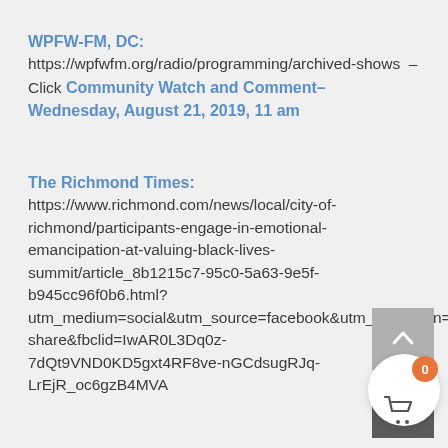WPFW-FM, DC: https://wpfwfm.org/radio/programming/archived-shows –Click Community Watch and Comment– Wednesday, August 21, 2019, 11 am
The Richmond Times: https://www.richmond.com/news/local/city-of-richmond/participants-engage-in-emotional-emancipation-at-valuing-black-lives-summit/article_8b1215c7-95c0-5a63-9e5f-b945cc96f0b6.html?utm_medium=social&utm_source=facebook&utm_campaign=user-share&fbclid=IwAR0L3Dq0z-7dQt9VND0KD5gxt4RF8ve-nGCdsugRJq-LrEjR_oc6gzB4MVA